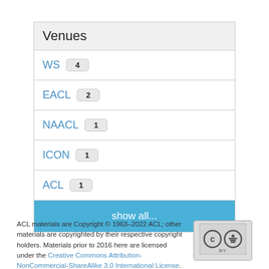Venues
WS 4
EACL 2
NAACL 1
ICON 1
ACL 1
show all...
ACL materials are Copyright © 1963–2022 ACL; other materials are copyrighted by their respective copyright holders. Materials prior to 2016 here are licensed under the Creative Commons Attribution-NonCommercial-ShareAlike 3.0 International License. Permission is granted to make copies for the purposes of teaching and research. Materials published in or after 2016